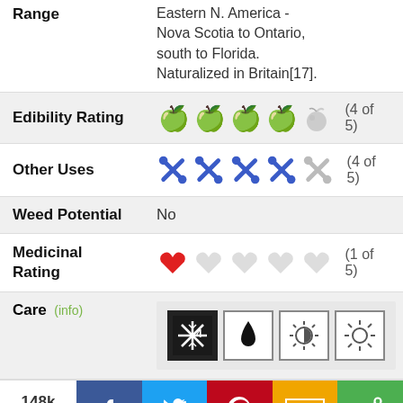| Field | Value |
| --- | --- |
| Range | Eastern N. America - Nova Scotia to Ontario, south to Florida. Naturalized in Britain[17]. |
| Edibility Rating | 4 of 5 |
| Other Uses | 4 of 5 |
| Weed Potential | No |
| Medicinal Rating | 1 of 5 |
| Care | info - frost hardiness zone 4, water, partial sun, full sun icons |
148k Shares - social share bar with Facebook, Twitter, Pinterest, SMS, Share